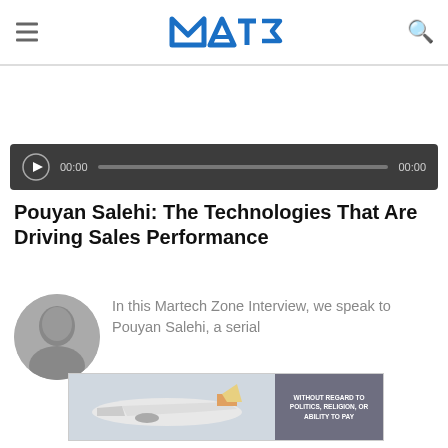MTC (Martech Zone) logo with hamburger menu and search icon
[Figure (infographic): Audio player bar with play button, time display 00:00, progress bar, and end time 00:00 on dark background]
Pouyan Salehi: The Technologies That Are Driving Sales Performance
[Figure (photo): Circular black and white headshot photo of Pouyan Salehi]
In this Martech Zone Interview, we speak to Pouyan Salehi, a serial
[Figure (photo): Advertisement banner showing an airplane with text WITHOUT REGARD TO POLITICS, RELIGION, OR ABILITY TO PAY]